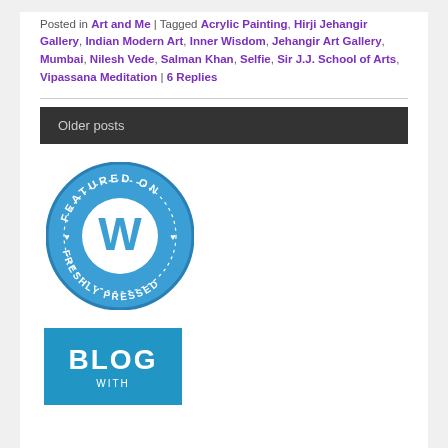Posted in Art and Me | Tagged Acrylic Painting, Hirji Jehangir Gallery, Indian Modern Art, Inner Wisdom, Jehangir Art Gallery, Mumbai, Nilesh Vede, Salman Khan, Selfie, Sir J.J. School of Arts, Vipassana Meditation | 6 Replies
Older posts
[Figure (logo): WordPress Freshly Pressed circular badge in blue with white WordPress logo (W) in the center, text 'FEATURED ON' at the top and 'FRESHLY PRESSED' at the bottom, with small heart symbols on the sides]
[Figure (logo): Blue square badge with white text 'BLOG' in large letters and 'WITH' below in smaller letters]